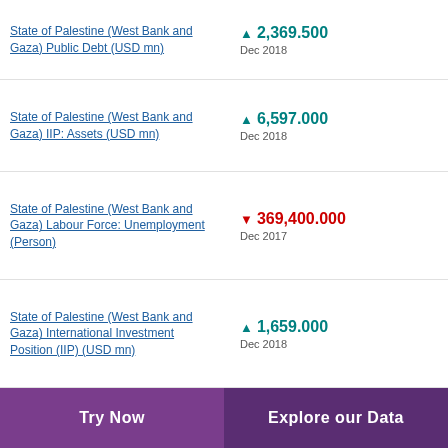State of Palestine (West Bank and Gaza) Public Debt (USD mn) ▲ 2,369.500 Dec 2018
State of Palestine (West Bank and Gaza) IIP: Assets (USD mn) ▲ 6,597.000 Dec 2018
State of Palestine (West Bank and Gaza) Labour Force: Unemployment (Person) ▼ 369,400.000 Dec 2017
State of Palestine (West Bank and Gaza) International Investment Position (IIP) (USD mn) ▲ 1,659.000 Dec 2018
Try Now   Explore our Data